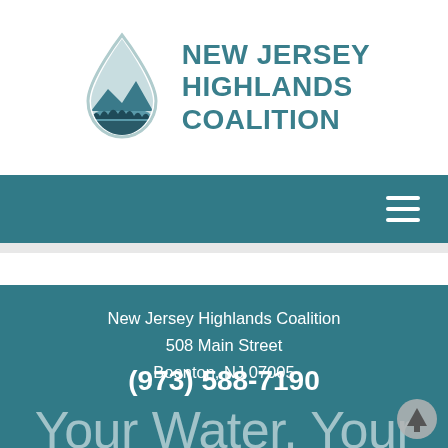[Figure (logo): New Jersey Highlands Coalition logo: a water droplet shape containing a landscape scene with trees and water, in teal/blue tones]
NEW JERSEY HIGHLANDS COALITION
[Figure (other): Teal navigation bar with hamburger menu icon (three horizontal lines) on the right]
New Jersey Highlands Coalition
508 Main Street
Boonton, NJ 07005
(973) 588-7190
Your Water, Your